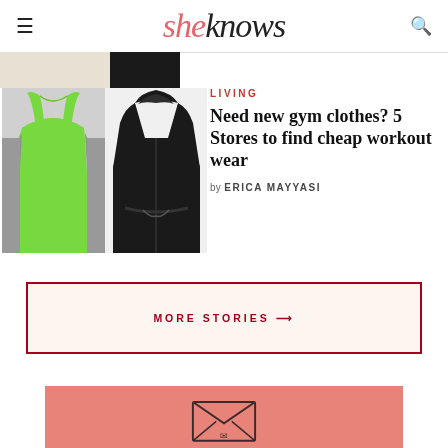sheknows
[Figure (photo): Partial view of a clothing item at the top, beige/dark background]
[Figure (photo): Green and gray racerback workout tank top on the left, black hooded jacket on the right]
LIVING
Need new gym clothes? 5 Stores to find cheap workout wear
by ERICA MAYYASI
MORE STORIES →
[Figure (illustration): Pink/salmon background section with envelope illustration at bottom of page]